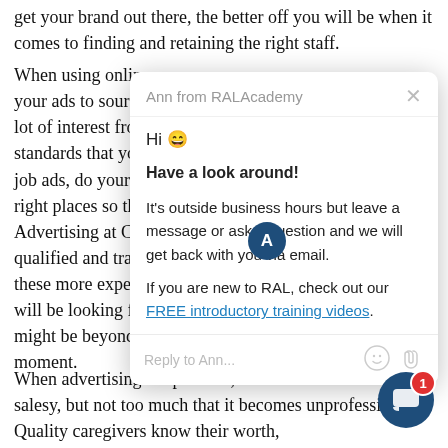get your brand out there, the better off you will be when it comes to finding and retaining the right staff. When using online ... your ads to source... lot of interest from i... standards that you'... job ads, do your be... right places so they... Advertising at CNA... qualified and traine... these more experie... will be looking for a... might be beyond w... moment.
[Figure (screenshot): Chat popup from Ann at RALAcademy. Header shows 'Ann from RALAcademy' with close X. Body: 'Hi 😀', 'Have a look around!', 'It's outside business hours but leave a message or ask a question and we will get back with you via email.', 'If you are new to RAL, check out our FREE introductory training videos.' Reply input field 'Reply to Ann...' with emoji and attachment icons. Dark blue avatar circle with letter A visible.]
When advertising the position, don't be afraid to ... salesy, but not too much that it becomes unprofessional. Quality caregivers know their worth,